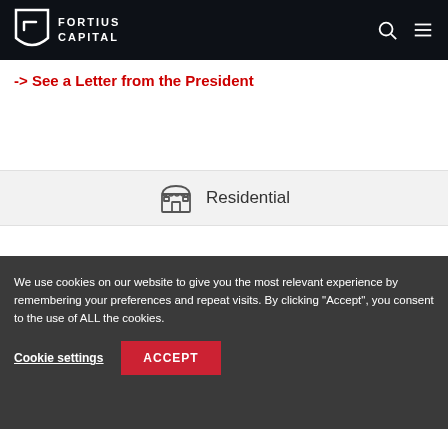FORTIUS CAPITAL
-> See a Letter from the President
Residential
We use cookies on our website to give you the most relevant experience by remembering your preferences and repeat visits. By clicking "Accept", you consent to the use of ALL the cookies.
Cookie settings   ACCEPT